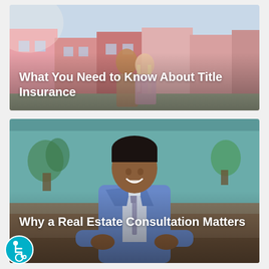[Figure (photo): Couple viewed from behind standing in front of colorful row houses on a sunny day]
What You Need to Know About Title Insurance
[Figure (photo): Smiling professional Black man in blue suit and tie seated at a table in an office/outdoor setting]
Why a Real Estate Consultation Matters